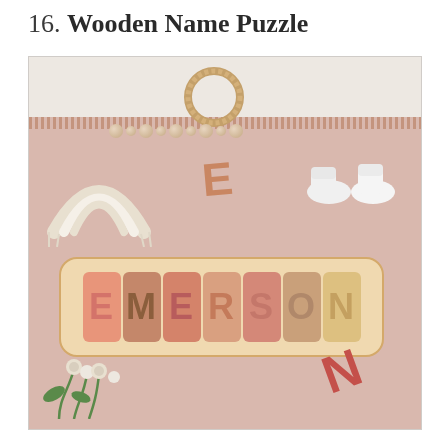16. Wooden Name Puzzle
[Figure (photo): A wooden name puzzle spelling 'EMERSON' with colorful letter pieces in pinks, browns, and yellows on a natural wood board with rounded corners. The puzzle is displayed on a dusty rose/mauve linen cloth with fringe. Surrounding items include a wooden ring teether with beads, a macrame rainbow decoration, a loose wooden letter 'E', white baby booties, a wooden letter 'N', and a green floral sprig with white button flowers.]